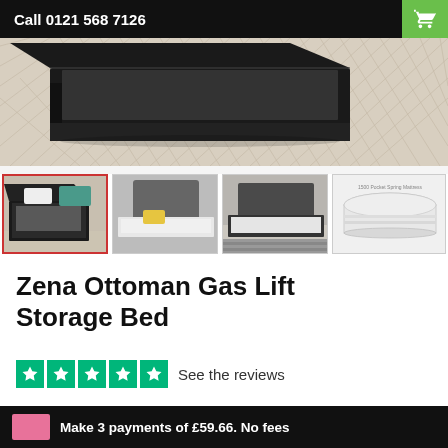Call 0121 568 7126
[Figure (photo): Main product image showing a black ottoman bed frame with gas lift storage, open lid revealing storage space, on a light wood herringbone floor]
[Figure (photo): Thumbnail 1 (active/selected): Black ottoman storage bed open showing storage, light wood floor, teal cushion - red border]
[Figure (photo): Thumbnail 2: Upholstered bed with grey headboard, yellow pillow, white bedding]
[Figure (photo): Thumbnail 3: Dark upholstered bed in bedroom with striped rug]
[Figure (photo): Thumbnail 4: 1500 Pocket Spring Mattress product illustration]
Zena Ottoman Gas Lift Storage Bed
See the reviews
Make 3 payments of £59.66. No fees